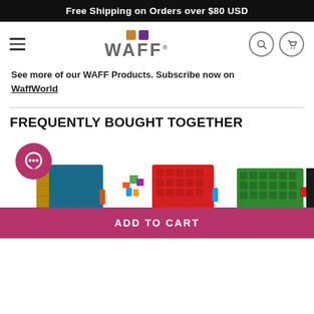Free Shipping on Orders over $80 USD
[Figure (logo): WAFF brand logo with orange and purple squares above stylized WAFF text with registered trademark symbol, hamburger menu icon, search icon, and cart icon]
See more of our WAFF Products. Subscribe now on WaffWorld
FREQUENTLY BOUGHT TOGETHER
[Figure (photo): Three WAFF notebook/journal products shown side by side: left shows blue/dark cover with WAFF branding, center shows red cover with colorful building blocks design, right shows green cover with WAFF branding. A pink chat bubble icon overlays the left product. Add to Cart button at bottom.]